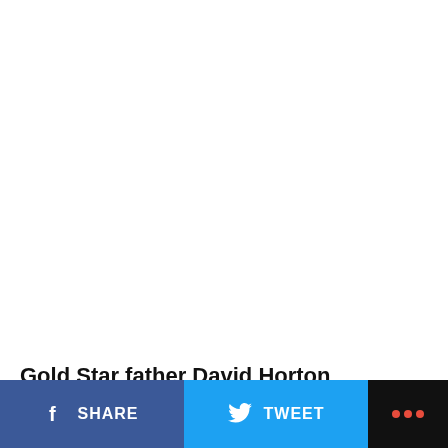Gold Star father David Horton slammed President Joe Biden in a meeting Sunday, scrutinizing the Biden
SHARE  TWEET  ...